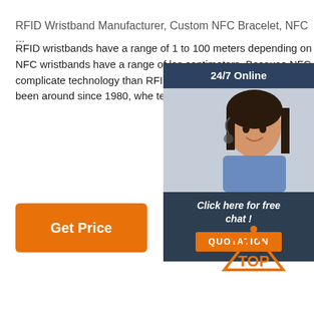RFID Wristband Manufacturer, Custom NFC Bracelet, NFC ...
RFID wristbands have a range of 1 to 100 meters depending on the setup, whereas NFC wristbands have a range of less than 20 centimeters. Because NFC is both more complicated technology than RFID, it tends to be more expensive wristbands. RFID has been around since 1980, whe technology has been around since 2002.
[Figure (other): A customer service representative wearing a headset, with a '24/7 Online' banner at top and 'Click here for free chat!' text with a QUOTATION button below, on a dark blue background.]
[Figure (other): Orange 'Get Price' button]
[Figure (logo): Orange TOP icon with dots above the letters T-O-P]